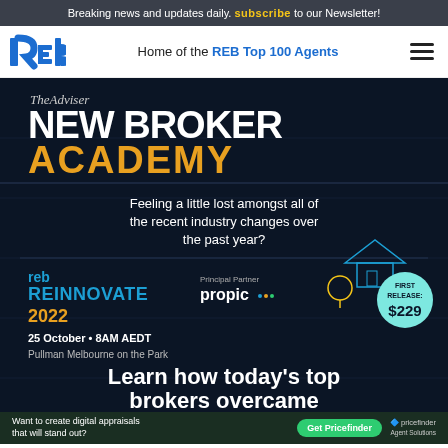Breaking news and updates daily. subscribe to our Newsletter!
[Figure (logo): REB logo - blue stylized 'reb' text]
Home of the REB Top 100 Agents
[Figure (screenshot): Advertisement: TheAdviser New Broker Academy - reb Reinnovate 2022 event ad. Shows 'Feeling a little lost amongst all of the recent industry changes over the past year?', event details: 25 October, 8AM AEDT, Pullman Melbourne on the Park. First Release $229. Principal Partner: propic. Learn how today's top brokers overcame challenges faced in the first few... Pricefinder banner at bottom: Want to create digital appraisals that will stand out? Get Pricefinder.]